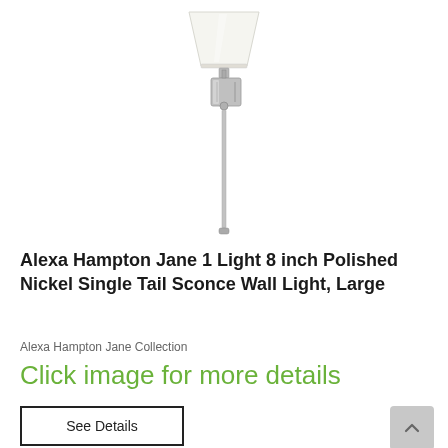[Figure (photo): Wall sconce lamp with polished nickel finish, single tail design, white cone shade, mounted bracket, and long vertical rod — product photo on white background]
Alexa Hampton Jane 1 Light 8 inch Polished Nickel Single Tail Sconce Wall Light, Large
Alexa Hampton Jane Collection
Click image for more details
See Details